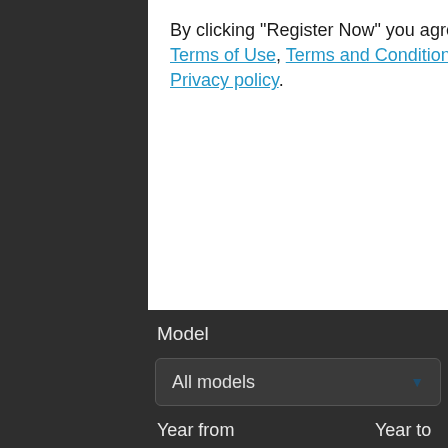By clicking "Register Now" you agree to Terms of Use, Terms and Conditions and Privacy policy.
Model
[Figure (screenshot): Dropdown selector showing 'All models']
Year from
Year to
[Figure (screenshot): Dropdown selector showing 'From']
[Figure (screenshot): Dropdown selector showing 'To']
Hide advanced filters
Primary damage
[Figure (screenshot): Dropdown selector showing 'All damage types']